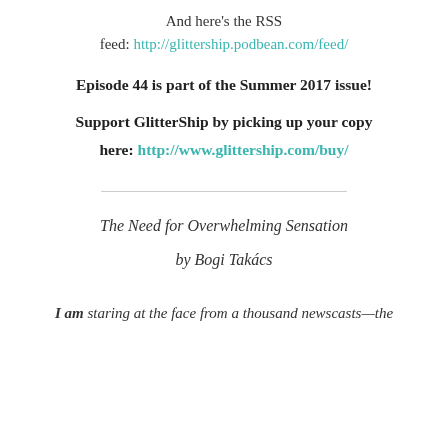And here's the RSS feed: http://glittership.podbean.com/feed/
Episode 44 is part of the Summer 2017 issue!
Support GlitterShip by picking up your copy here: http://www.glittership.com/buy/
The Need for Overwhelming Sensation
by Bogi Takács
I am staring at the face from a thousand newscasts—the